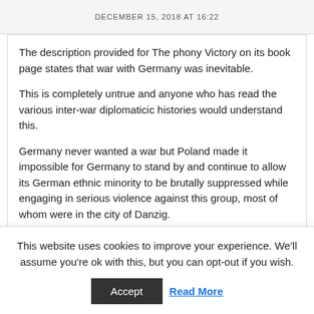DECEMBER 15, 2018 AT 16:22
The description provided for The phony Victory on its book page states that war with Germany was inevitable.
This is completely untrue and anyone who has read the various inter-war diplomaticic histories would understand this.
Germany never wanted a war but Poland made it impossible for Germany to stand by and continue to allow its German ethnic minority to be brutally suppressed while engaging in serious violence against this group, most of whom were in the city of Danzig.
This website uses cookies to improve your experience. We'll assume you're ok with this, but you can opt-out if you wish.
Accept   Read More